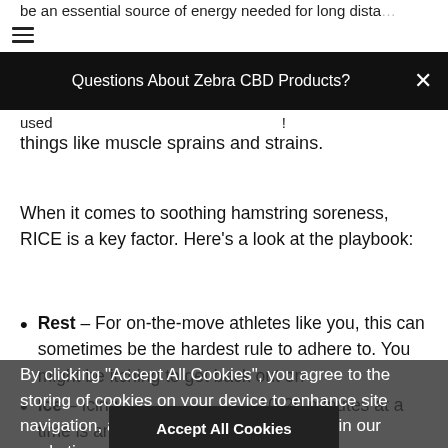be an essential source of energy needed for long distance ... used ...
Questions About Zebra CBD Products?
things like muscle sprains and strains.
When it comes to soothing hamstring soreness, RICE is a key factor. Here’s a look at the playbook:
Rest – For on-the-move athletes like you, this can sometimes be the hardest rule to adhere to. You might be itching to get back out on the field, but you need to give your hamstrings two weeks...
By clicking “Accept All Cookies”, you agree to the storing of cookies on your device to enhance site navigation, analyze site usage, and assist in our marketing efforts.
Ice – Icing for 10-20 minutes at a time is an effective way of keeping